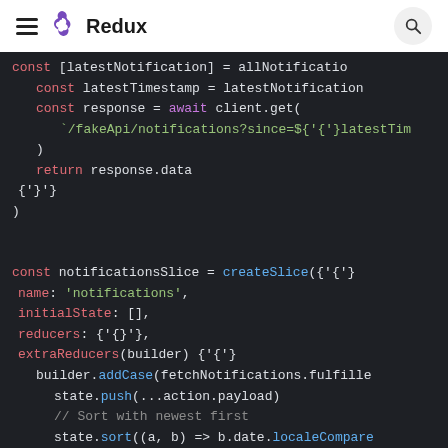Redux
[Figure (screenshot): Redux documentation page showing a dark-themed code block with JavaScript/Redux code snippet featuring fetchNotifications and createSlice with notificationsSlice definition]